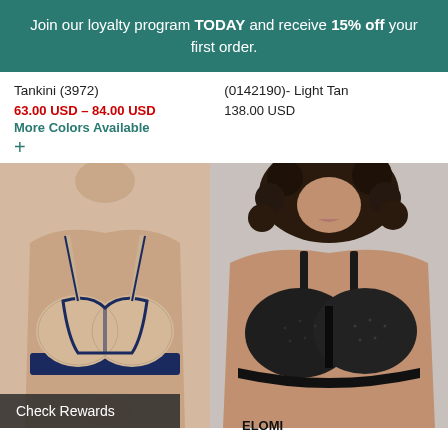Join our loyalty program TODAY and receive 15% off your first order.
Tankini (3972)
63.00 USD – 84.00 USD
More Colors Available
+
(0142190)- Light Tan
138.00 USD
[Figure (photo): Woman wearing a beige and navy lace bralette/bra with floral pattern.]
Check Rewards
[Figure (photo): Plus-size woman wearing a black textured underwire bra.]
ELOMI